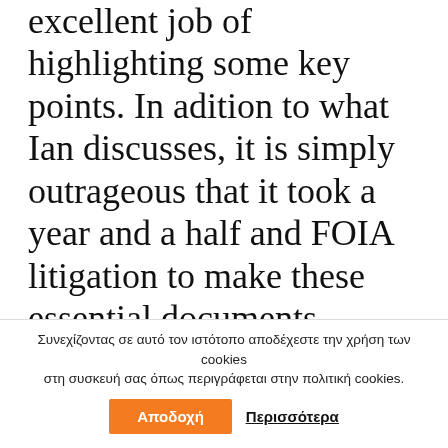excellent job of highlighting some key points. In adition to what Ian discusses, it is simply outrageous that it took a year and a half and FOIA litigation to make these essential documents available to the public. It is also outrageous that EcoHealth Alliance failed to report irregularities and make the raw genome sequencing data available, as they were apparently required to do under the grant. It is also unfortunate that although Anthony Fauci may have been technically correct in the most narrow
Συνεχίζοντας σε αυτό τον ιστότοπο αποδέχεστε την χρήση των cookies στη συσκευή σας όπως περιγράφεται στην πολιτική cookies.